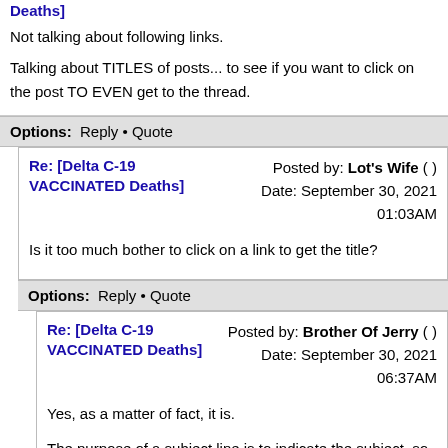Deaths]
Not talking about following links.
Talking about TITLES of posts... to see if you want to click on the post TO EVEN get to the thread.
Options:  Reply • Quote
Re: [Delta C-19 VACCINATED Deaths]
Posted by: Lot's Wife ( )  Date: September 30, 2021 01:03AM
Is it too much bother to click on a link to get the title?
Options:  Reply • Quote
Re: [Delta C-19 VACCINATED Deaths]
Posted by: Brother Of Jerry ( )  Date: September 30, 2021 06:37AM
Yes, as a matter of fact, it is.
The purpose of a subject line is to indicate the subject, so people can decide whether they are